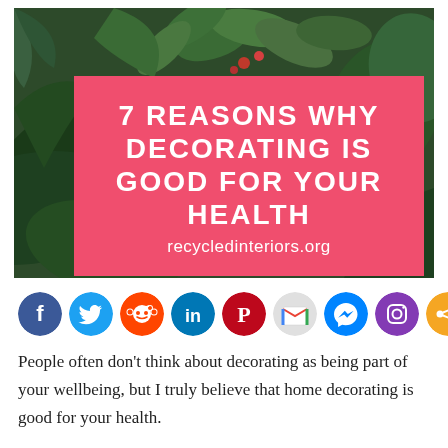[Figure (photo): Photograph of lush indoor tropical plants (ferns, large-leaf plants, potted plants) with a pink overlay box containing the article title '7 REASONS WHY DECORATING IS GOOD FOR YOUR HEALTH' and URL 'recycledinteriors.org']
[Figure (infographic): Row of social sharing icon buttons: Facebook (blue), Twitter (light blue), Reddit (orange), LinkedIn (dark blue), Pinterest (dark red), Gmail (gray/red), Messenger (blue gradient), Instagram (purple), Share (orange)]
People often don't think about decorating as being part of your wellbeing, but I truly believe that home decorating is good for your health.